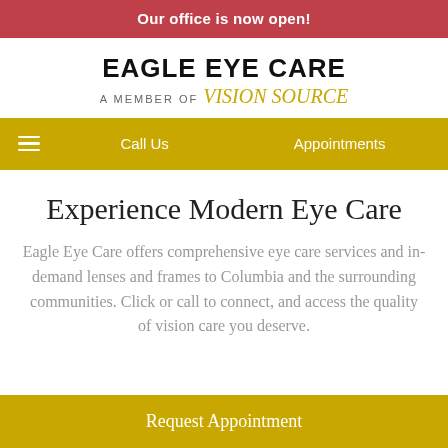Our office is now open!
EAGLE EYE CARE
A MEMBER OF Vision Source
Call Us   Appointments
Experience Modern Eye Care
Eagle Eye Care offers comprehensive eye care services and in-demand lenses and frames to Columbia and the surrounding communities. Click or call to connect, and access the quality of vision care you deserve.
Request Appointment